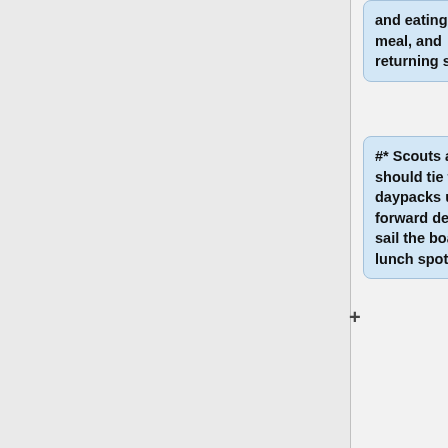and eating a meal, and returning safely.
#* Scouts and crew should tie their daypacks under the forward deck, then sail the boat to the lunch spot.
# I have taken part in at least five daysails of six hours each, or ten daysails of three hours each, on safe, familiar waters.
#* In addition to the daysails completed for the previous four